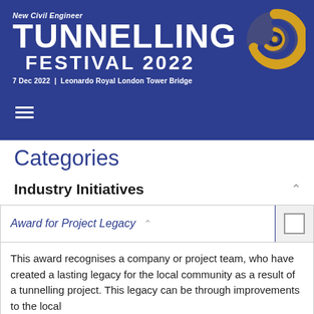[Figure (logo): New Civil Engineer Tunnelling Festival 2022 header banner with spiral logo, blue background, white text. Date: 7 Dec 2022 | Leonardo Royal London Tower Bridge]
Categories
Industry Initiatives
Award for Project Legacy
This award recognises a company or project team, who have created a lasting legacy for the local community as a result of a tunnelling project. This legacy can be through improvements to the local